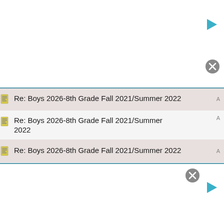[Figure (screenshot): Screenshot of an email thread list showing multiple replies titled 'Re: Boys 2026-8th Grade Fall 2021/Summer 2022' displayed as a threaded list with alternating shaded rows, document icons, and navigation controls at top and bottom.]
Re: Boys 2026-8th Grade Fall 2021/Summer 2022
Re: Boys 2026-8th Grade Fall 2021/Summer 2022
Re: Boys 2026-8th Grade Fall 2021/Summer 2022
Re: Boys 2026-8th Grade Fall 2021/Summer 2022
Re: Boys 2026-8th Grade Fall 2021/Summer 2022
Re: Boys 2026-8th Grade Fall 2021/Summer 2022
Re: Boys 2026-8th Grade Fall 2021/Summer 2022
Re: Boys 2026-8th Grade Fall 2021/Summer 2022